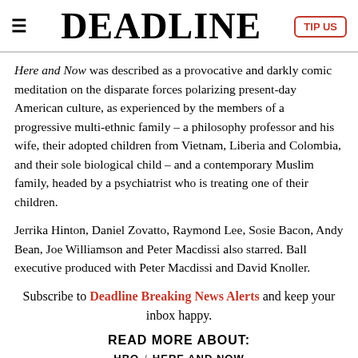DEADLINE
Here and Now was described as a provocative and darkly comic meditation on the disparate forces polarizing present-day American culture, as experienced by the members of a progressive multi-ethnic family – a philosophy professor and his wife, their adopted children from Vietnam, Liberia and Colombia, and their sole biological child – and a contemporary Muslim family, headed by a psychiatrist who is treating one of their children.
Jerrika Hinton, Daniel Zovatto, Raymond Lee, Sosie Bacon, Andy Bean, Joe Williamson and Peter Macdissi also starred. Ball executive produced with Peter Macdissi and David Knoller.
Subscribe to Deadline Breaking News Alerts and keep your inbox happy.
READ MORE ABOUT:
HBO / HERE AND NOW